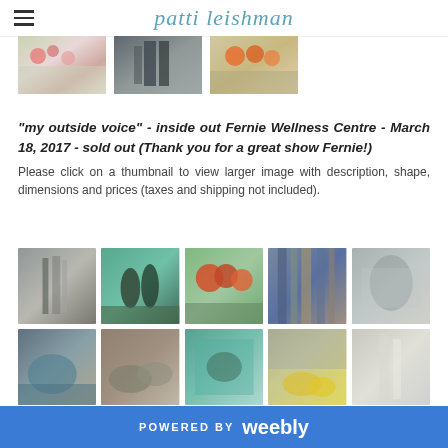patti leishman
[Figure (photo): Three small thumbnail paintings: floral/garden scene, dark forest/figure, and orange flowers]
"my outside voice" - inside out Fernie Wellness Centre - March 18, 2017 - sold out (Thank you for a great show Fernie!)
Please click on a thumbnail to view larger image with description, shape, dimensions and prices (taxes and shipping not included).
[Figure (photo): Gallery grid row 1: abstract grey painting, teal trees painting, orange trees painting, abstract vertical stripes, grey abstract landscape]
[Figure (photo): Gallery grid row 2: abstract brown/teal, grey abstract leaves, teal abstract, yellow flowers abstract, white/grey waterfall]
POWERED BY weebly